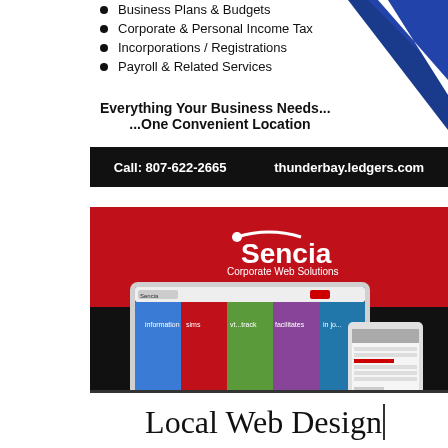Business Plans & Budgets
Corporate & Personal Income Tax
Incorporations / Registrations
Payroll & Related Services
Everything Your Business Needs... ...One Convenient Location
Call: 807-622-2665      thunderbay.ledgers.com
[Figure (advertisement): Sencia Corporate Web Solutions advertisement showing a laptop and tablet with a colorful web interface. Red and black background with Sencia logo.]
Local Web Design